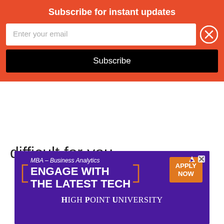[Figure (screenshot): Subscribe for instant updates modal with orange background, email input field, close button, and black Subscribe button]
difficult for you.
[Figure (infographic): Three gray dots navigation indicator]
[Figure (infographic): Advertisement banner for High Point University MBA in Business Analytics with purple background, orange accents, and Apply Now button]